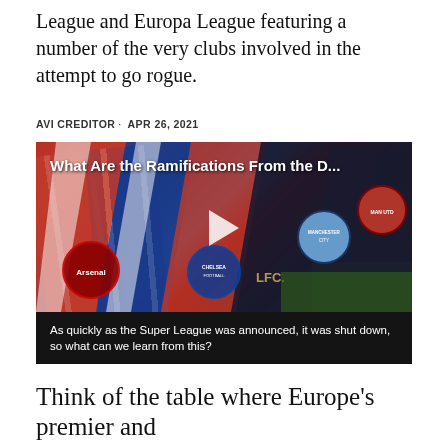League and Europa League featuring a number of the very clubs involved in the attempt to go rogue.
AVI CREDITOR · APR 26, 2021
[Figure (screenshot): Video thumbnail showing football scarves from Arsenal, Chelsea, Liverpool, Manchester City, and Manchester United laid out on grass. Overlay title reads 'What Are the Ramifications From the D...' with a play button. Caption below reads 'As quickly as the Super League was announced, it was shut down, so what can we learn from this?']
Think of the table where Europe's premier and